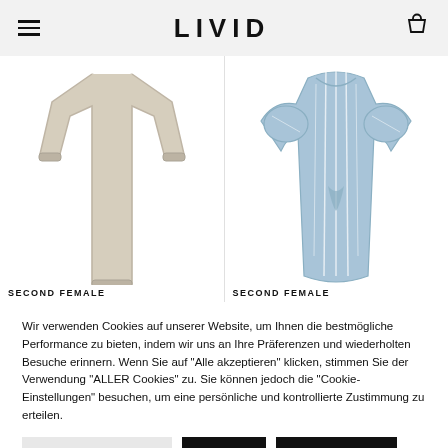LIVID
[Figure (photo): Two clothing product images side by side: left shows a beige/cream oversized sweater dress; right shows a light blue striped dress with puff sleeves.]
SECOND FEMALE
SECOND FEMALE
Wir verwenden Cookies auf unserer Website, um Ihnen die bestmögliche Performance zu bieten, indem wir uns an Ihre Präferenzen und wiederholten Besuche erinnern. Wenn Sie auf "Alle akzeptieren" klicken, stimmen Sie der Verwendung "ALLER Cookies" zu. Sie können jedoch die "Cookie-Einstellungen" besuchen, um eine persönliche und kontrollierte Zustimmung zu erteilen.
Cookie Einstellungen
Ablehnen
Alle akzeptieren